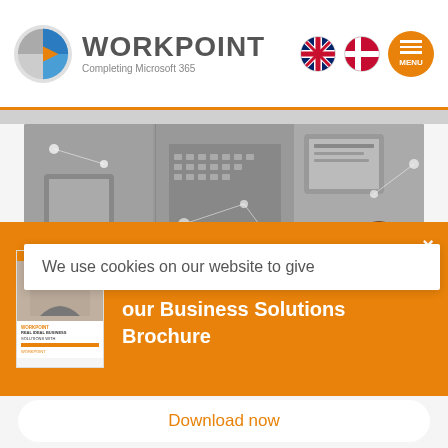[Figure (logo): WorkPoint logo with blue/orange play-button icon and text 'WORKPOINT Completing Microsoft 365']
[Figure (screenshot): Navigation icons: UK flag, Danish flag, and orange MENU button]
[Figure (photo): Hero banner showing business technology images - hands with tablet, laptop keyboard, person working on tablet]
We use cookies on our website to give
[Figure (infographic): Orange promotional banner with brochure cover image reading 'Learn more about WorkPoint in our Business Solutions Brochure' with close X button]
Download now